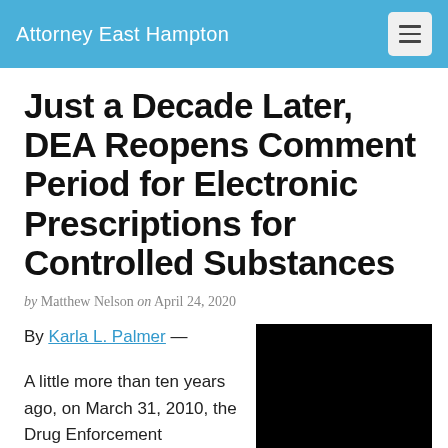Attorney East Hampton
Just a Decade Later, DEA Reopens Comment Period for Electronic Prescriptions for Controlled Substances
by Matthew Nelson on April 24, 2020
By Karla L. Palmer —
[Figure (photo): Black rectangular image placeholder]
A little more than ten years ago, on March 31, 2010, the Drug Enforcement